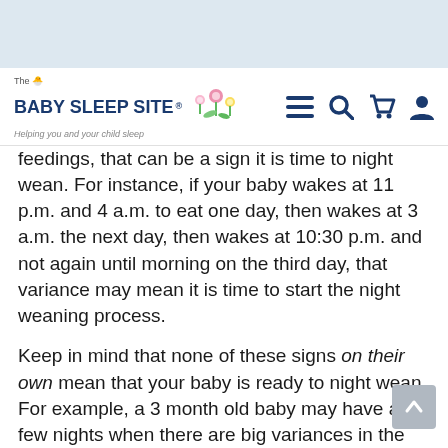The Baby Sleep Site® — Helping you and your child sleep
feedings, that can be a sign it is time to night wean. For instance, if your baby wakes at 11 p.m. and 4 a.m. to eat one day, then wakes at 3 a.m. the next day, then wakes at 10:30 p.m. and not again until morning on the third day, that variance may mean it is time to start the night weaning process.
Keep in mind that none of these signs on their own mean that your baby is ready to night wean. For example, a 3 month old baby may have a few nights when there are big variances in the timing of her night feedings, but that certainly does not mean she's ready